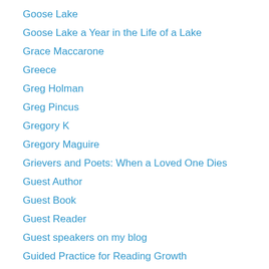Goose Lake
Goose Lake a Year in the Life of a Lake
Grace Maccarone
Greece
Greg Holman
Greg Pincus
Gregory K
Gregory Maguire
Grievers and Poets: When a Loved One Dies
Guest Author
Guest Book
Guest Reader
Guest speakers on my blog
Guided Practice for Reading Growth
Hall of Fame Poets
Hall of Fame Young Poets
Hallmark Cards
Halloween challenge
Halloween video
Hank Billings